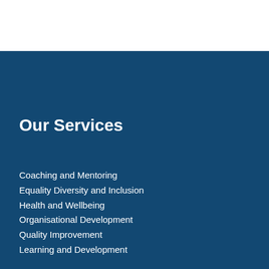Our Services
Coaching and Mentoring
Equality Diversity and Inclusion
Health and Wellbeing
Organisational Development
Quality Improvement
Learning and Development